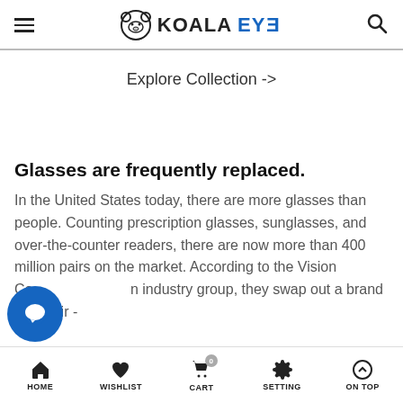KOALAEYE
Explore Collection ->
Glasses are frequently replaced.
In the United States today, there are more glasses than people. Counting prescription glasses, sunglasses, and over-the-counter readers, there are now more than 400 million pairs on the market. According to the Vision Council industry group, they swap out a brand new pair -
HOME  WISHLIST  CART  SETTING  ON TOP